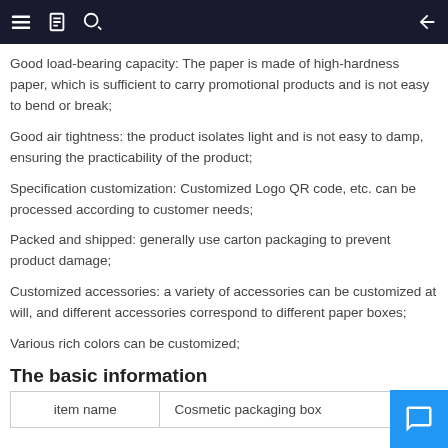Good load-bearing capacity: The paper is made of high-hardness paper, which is sufficient to carry promotional products and is not easy to bend or break;
Good air tightness: the product isolates light and is not easy to damp, ensuring the practicability of the product;
Specification customization: Customized Logo QR code, etc. can be processed according to customer needs;
Packed and shipped: generally use carton packaging to prevent product damage;
Customized accessories: a variety of accessories can be customized at will, and different accessories correspond to different paper boxes;
Various rich colors can be customized;
The basic information
| item name | Cosmetic packaging box |
| --- | --- |